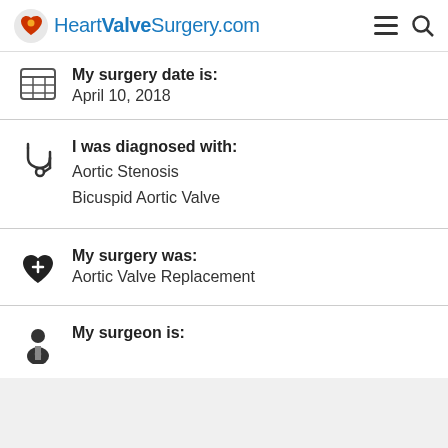HeartValveSurgery.com
My surgery date is:
April 10, 2018
I was diagnosed with:
Aortic Stenosis
Bicuspid Aortic Valve
My surgery was:
Aortic Valve Replacement
My surgeon is: